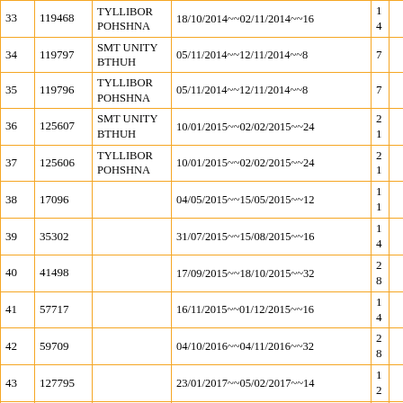|  |  |  |  |  |  |
| --- | --- | --- | --- | --- | --- |
| 33 | 119468 | TYLLIBOR POHSHNA | 18/10/2014~~02/11/2014~~16 | 14 |  |
| 34 | 119797 | SMT UNITY BTHUH | 05/11/2014~~12/11/2014~~8 | 7 |  |
| 35 | 119796 | TYLLIBOR POHSHNA | 05/11/2014~~12/11/2014~~8 | 7 |  |
| 36 | 125607 | SMT UNITY BTHUH | 10/01/2015~~02/02/2015~~24 | 21 |  |
| 37 | 125606 | TYLLIBOR POHSHNA | 10/01/2015~~02/02/2015~~24 | 21 |  |
| 38 | 17096 |  | 04/05/2015~~15/05/2015~~12 | 11 |  |
| 39 | 35302 |  | 31/07/2015~~15/08/2015~~16 | 14 |  |
| 40 | 41498 |  | 17/09/2015~~18/10/2015~~32 | 28 |  |
| 41 | 57717 |  | 16/11/2015~~01/12/2015~~16 | 14 |  |
| 42 | 59709 |  | 04/10/2016~~04/11/2016~~32 | 28 |  |
| 43 | 127795 |  | 23/01/2017~~05/02/2017~~14 | 12 |  |
| 44 | 158373 |  | 06/03/2017~~19/03/2017~~14 | 12 |  |
| 45 | 171561 | SMT UNITY BTHUH | 24/03/2017~~31/03/2017~~8 | 7 |  |
| 46 | 7096 |  | 01/05/2017~~01/06/2017~~32 | 28 |  |
| 47 | 22372 | TYLLIBOR POHSHNA | 03/07/2017~~14/07/2017~~12 | 11 |  |
| 48 | 70070 | SMT UNITY BTHUH | 09/10/2017~~29/11/2017~~52 | 45 |  |
| 49 | 34377 |  | 20/06/2018~~21/07/2018~~32 | 28 |  |
| 50 | 48713 |  | 26/07/2018~~26/08/2018~~32 | 28 |  |